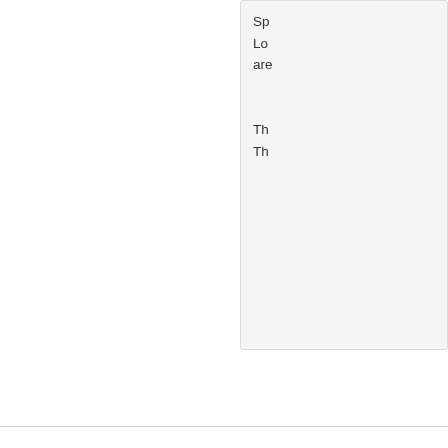Spa Lot are
Tha The
09/25/2020
[Figure (other): Two gold/orange star rating icons (partial view, approximately 2 stars visible)]
Smo
by BrendaL
[Figure (logo): Motives Beauty Advisor badge: circle with letter M, text Motives Beauty Advisor]
Love skin. and
Re: 09/ De